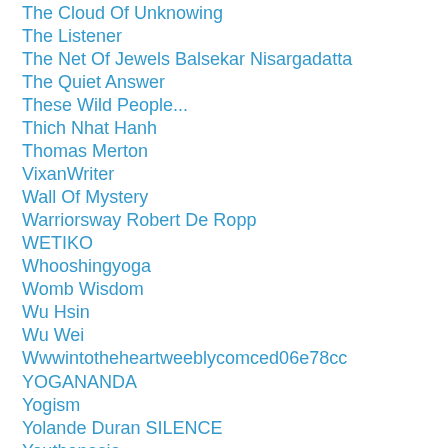The Cloud Of Unknowing
The Listener
The Net Of Jewels Balsekar Nisargadatta
The Quiet Answer
These Wild People...
Thich Nhat Hanh
Thomas Merton
VixanWriter
Wall Of Mystery
Warriorsway Robert De Ropp
WETIKO
Whooshingyoga
Womb Wisdom
Wu Hsin
Wu Wei
Wwwintotheheartweeblycomced06e78cc
YOGANANDA
Yogism
Yolande Duran SILENCE
Youthanasia